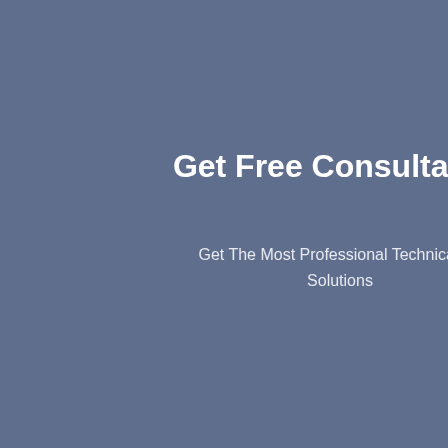Get Free Consultation
Get The Most Professional Technical And Solutions
[Figure (screenshot): Chat widget overlay showing '24/7 hour online' header in blue with yellow '24/7', a photo of a smiling female customer service agent with headset, dot navigation indicators, and 'Click to chat' button. A Chinese sidebar reads '在线咨询' (Online Consultation).]
Your Name
Email
Phone